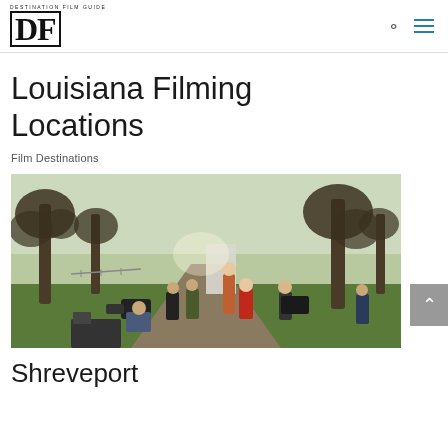DF — Destination Film Guide
Louisiana Filming Locations
Film Destinations
[Figure (photo): Film crew shooting a scene outdoors on a tree-lined path in Louisiana, with cameras, equipment, and multiple crew members visible. Trees with bare winter branches visible in background against overcast sky.]
Shreveport